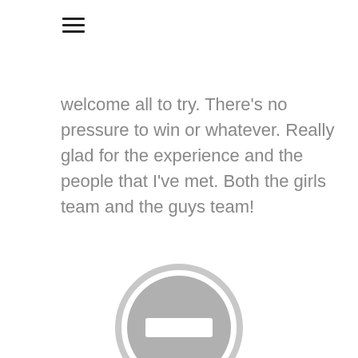[Figure (illustration): Hamburger menu icon — three horizontal dark lines stacked vertically]
welcome all to try. There's no pressure to win or whatever. Really glad for the experience and the people that I've met. Both the girls team and the guys team!
[Figure (illustration): A grey circle with a white horizontal rectangle (minus/block sign) in the center — a 'no entry' or 'blocked' icon]